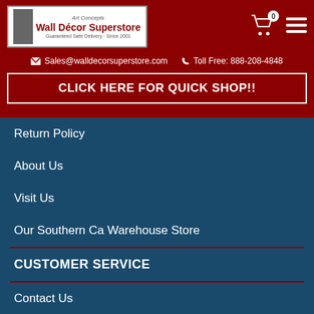[Figure (logo): Art Concepts Wall Decor Superstore logo with tagline 'Guaranteed Safe Delivery - Since 2001']
Sales@walldecorsuperstore.com  Toll Free: 888-208-4848
CLICK HERE FOR QUICK SHOP!!
Return Policy
About Us
Visit Us
Our Southern Ca Warehouse Store
CUSTOMER SERVICE
Contact Us
Request a Quote
Order A Sample
[Figure (logo): TrustedSite Certified Secure badge]